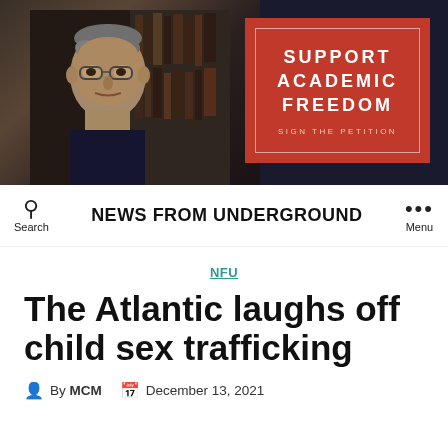[Figure (screenshot): Banner image showing a man with glasses against a dark bookshelf background on the left, and a red advertisement box on the right reading 'SUPPORT ACADEMIC FREEDOM' with 'SIGN THE PETITION' below]
NEWS FROM UNDERGROUND
NFU
The Atlantic laughs off child sex trafficking
By MCM   December 13, 2021